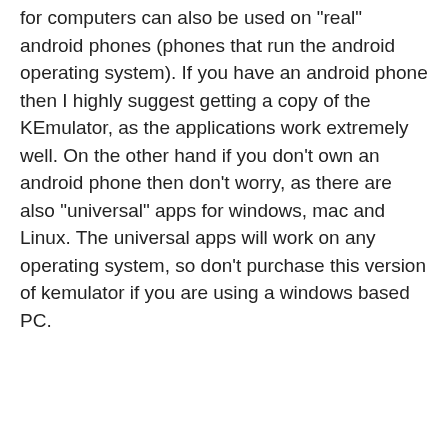for computers can also be used on "real" android phones (phones that run the android operating system). If you have an android phone then I highly suggest getting a copy of the KEmulator, as the applications work extremely well. On the other hand if you don't own an android phone then don't worry, as there are also "universal" apps for windows, mac and Linux. The universal apps will work on any operating system, so don't purchase this version of kemulator if you are using a windows based PC.